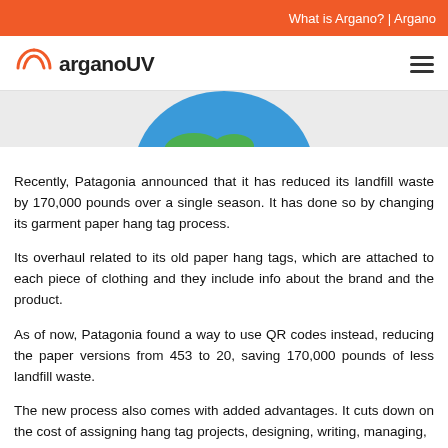What is Argano? | Argano
[Figure (logo): ArganoUV logo with orange rainbow arc icon and bold text 'arganoUV']
[Figure (illustration): Partial globe illustration showing earth from above, cropped at bottom of nav section]
Recently, Patagonia announced that it has reduced its landfill waste by 170,000 pounds over a single season. It has done so by changing its garment paper hang tag process.
Its overhaul related to its old paper hang tags, which are attached to each piece of clothing and they include info about the brand and the product.
As of now, Patagonia found a way to use QR codes instead, reducing the paper versions from 453 to 20, saving 170,000 pounds of less landfill waste.
The new process also comes with added advantages. It cuts down on the cost of assigning hang tag projects, designing, writing, managing,